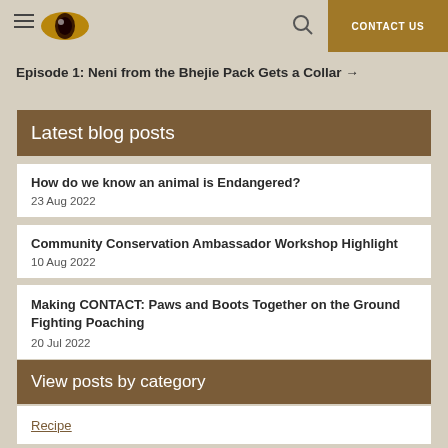CONTACT US
Episode 1: Neni from the Bhejie Pack Gets a Collar →
Latest blog posts
How do we know an animal is Endangered?
23 Aug 2022
Community Conservation Ambassador Workshop Highlight
10 Aug 2022
Making CONTACT: Paws and Boots Together on the Ground Fighting Poaching
20 Jul 2022
View posts by category
Recipe